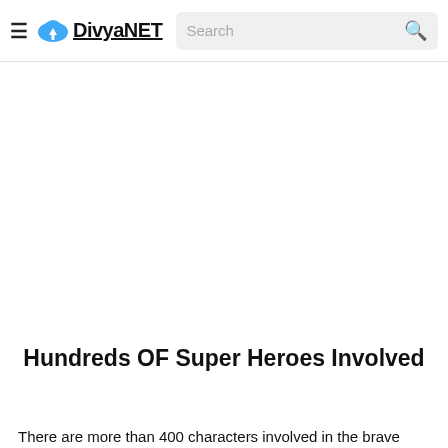≡ DivyaNET  Search
Hundreds OF Super Heroes Involved
There are more than 400 characters involved in the brave